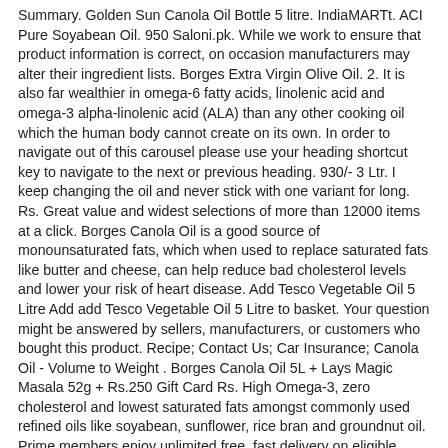Summary. Golden Sun Canola Oil Bottle 5 litre. IndiaMARTt. ACI Pure Soyabean Oil. 950 Saloni.pk. While we work to ensure that product information is correct, on occasion manufacturers may alter their ingredient lists. Borges Extra Virgin Olive Oil. 2. It is also far wealthier in omega-6 fatty acids, linolenic acid and omega-3 alpha-linolenic acid (ALA) than any other cooking oil which the human body cannot create on its own. In order to navigate out of this carousel please use your heading shortcut key to navigate to the next or previous heading. 930/- 3 Ltr. I keep changing the oil and never stick with one variant for long. Rs. Great value and widest selections of more than 12000 items at a click. Borges Canola Oil is a good source of monounsaturated fats, which when used to replace saturated fats like butter and cheese, can help reduce bad cholesterol levels and lower your risk of heart disease. Add Tesco Vegetable Oil 5 Litre Add add Tesco Vegetable Oil 5 Litre to basket. Your question might be answered by sellers, manufacturers, or customers who bought this product. Recipe; Contact Us; Car Insurance; Canola Oil - Volume to Weight . Borges Canola Oil 5L + Lays Magic Masala 52g + Rs.250 Gift Card Rs. High Omega-3, zero cholesterol and lowest saturated fats amongst commonly used refined oils like soyabean, sunflower, rice bran and groundnut oil. Prime members enjoy unlimited free, fast delivery on eligible items, video streaming, ad-free music, exclusive access to deals & more. But my question is will it have any side effect in future? Rs 380/- (Was Rs. Ingredients . Arrives before Christmas. BORGES BORGES Canola Oil, 5 L Bottle . Same day delivery. 1019. Snappy Butter Burst Popcorn Oil, 1 Gallon. Oillina Extra Virgin Olive Oil. I am a regular user of Canola oil for cooking. Canola oil was the next best option I could think of. Jual Douge Canola Oil 5 Litre / Minyak Douge dengan